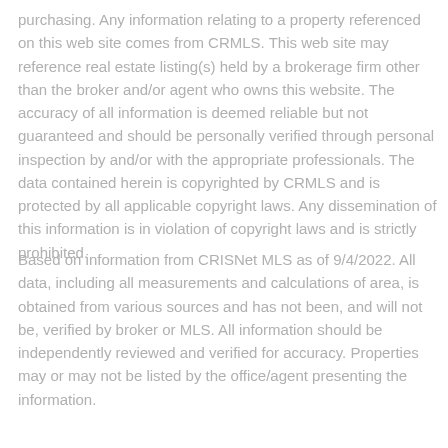purchasing. Any information relating to a property referenced on this web site comes from CRMLS. This web site may reference real estate listing(s) held by a brokerage firm other than the broker and/or agent who owns this website. The accuracy of all information is deemed reliable but not guaranteed and should be personally verified through personal inspection by and/or with the appropriate professionals. The data contained herein is copyrighted by CRMLS and is protected by all applicable copyright laws. Any dissemination of this information is in violation of copyright laws and is strictly prohibited.
Based on information from CRISNet MLS as of 9/4/2022. All data, including all measurements and calculations of area, is obtained from various sources and has not been, and will not be, verified by broker or MLS. All information should be independently reviewed and verified for accuracy. Properties may or may not be listed by the office/agent presenting the information.